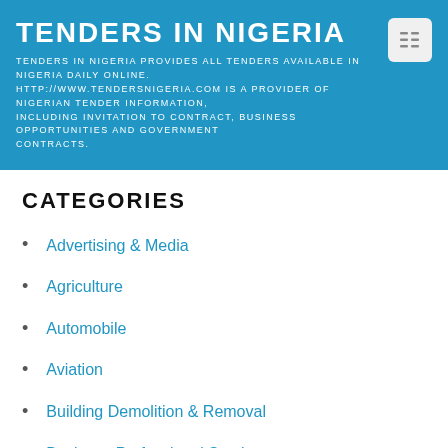TENDERS IN NIGERIA
TENDERS IN NIGERIA PROVIDES ALL TENDERS AVAILABLE IN NIGERIA DAILY ONLINE. HTTP://WWW.TENDERSNIGERIA.COM IS A PROVIDER OF NIGERIAN TENDER INFORMATION, INCLUDING INVITATION TO CONTRACT, BUSINESS OPPORTUNITIES AND GOVERNMENT CONTRACTS.
CATEGORIES
Advertising & Media
Agriculture
Automobile
Aviation
Building Demolition & Removal
Business Professional Services
Civil Engineering & Construction